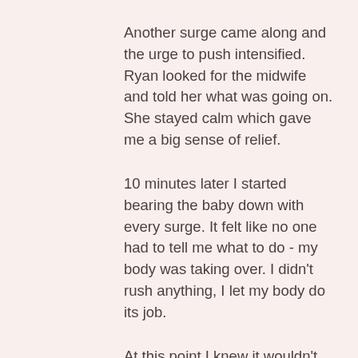Another surge came along and the urge to push intensified. Ryan looked for the midwife and told her what was going on. She stayed calm which gave me a big sense of relief.
10 minutes later I started bearing the baby down with every surge. It felt like no one had to tell me what to do - my body was taking over. I didn't rush anything, I let my body do its job.
At this point I knew it wouldn't take much longer anymore. I opened my eyes and Ryan stared at me with the biggest smile on his face I'd ever seen when the midwife told us she could see